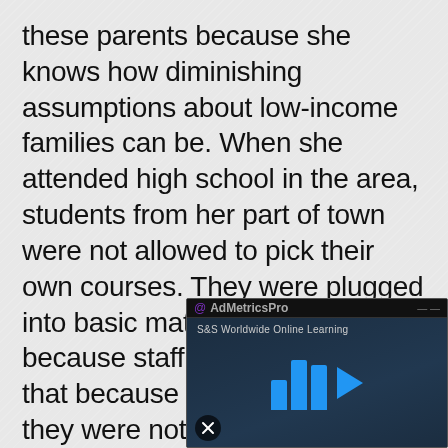these parents because she knows how diminishing assumptions about low-income families can be. When she attended high school in the area, students from her part of town were not allowed to pick their own courses. They were plugged into basic math and English because staff members assumed that because they were poor, they were not capable of challenging work.
Part of her inspiration comes from motivational speaker Dr. Wayne Dyer, who related a sto[ry] from school one [day he] thought he hear[d a] scurvy elephant [and] another staff me[mber's] mother called th[at...] she learned that...
[Figure (screenshot): Ad overlay from @AdMetricsPro showing an S&S Worldwide Online Learning video advertisement with blue play button bars and mute icon]